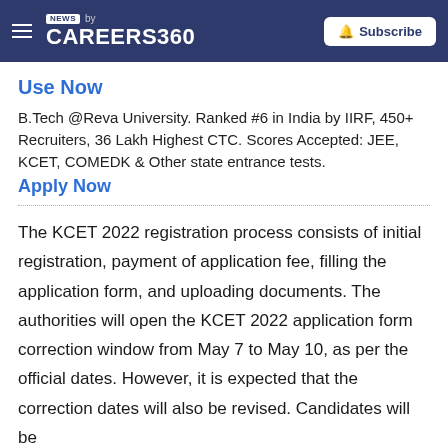NEWS by CAREERS360 | Subscribe
Use Now
B.Tech @Reva University. Ranked #6 in India by IIRF, 450+ Recruiters, 36 Lakh Highest CTC. Scores Accepted: JEE, KCET, COMEDK & Other state entrance tests.
Apply Now
The KCET 2022 registration process consists of initial registration, payment of application fee, filling the application form, and uploading documents. The authorities will open the KCET 2022 application form correction window from May 7 to May 10, as per the official dates. However, it is expected that the correction dates will also be revised. Candidates will be